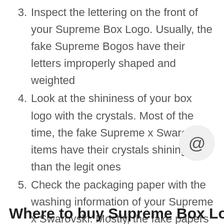3. Inspect the lettering on the front of your Supreme Box Logo. Usually, the fake Supreme Bogos have their letters improperly shaped and weighted
4. Look at the shininess of your box logo with the crystals. Most of the time, the fake Supreme x Swarovski items have their crystals shining less than the legit ones
5. Check the packaging paper with the washing information of your Supreme x Swarovski. Mostly, the fake papers have their text different font weights, shaping, and placement
Where to buy Supreme Box Logo and is